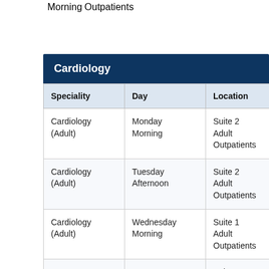|  | Morning | Outpatients |  |
| Speciality | Day | Location | Consu |
| --- | --- | --- | --- |
| Cardiology (Adult) | Monday Morning | Suite 2 Adult Outpatients | Dr. Da Moore |
| Cardiology (Adult) | Tuesday Afternoon | Suite 2 Adult Outpatients | Dr. Bar Khan |
| Cardiology (Adult) | Wednesday Morning | Suite 1 Adult Outpatients | Dr. Bri Loo |
|  |  | Suite 1 |  |